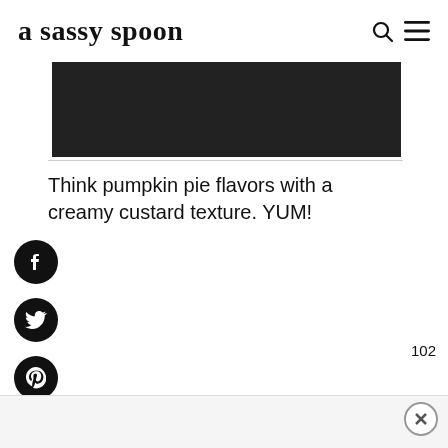a sassy spoon
[Figure (photo): Dark horizontal image strip, partially cropped]
Think pumpkin pie flavors with a creamy custard texture. YUM!
[Figure (illustration): Facebook share button (black circle with f icon)]
[Figure (illustration): Twitter share button (black circle with bird icon)]
[Figure (illustration): Pinterest save button (black circle with p icon)]
[Figure (illustration): Heart/save button with count 102]
[Figure (illustration): Search button (black circle with magnifier icon)]
[Figure (illustration): Close (X) button at bottom right]